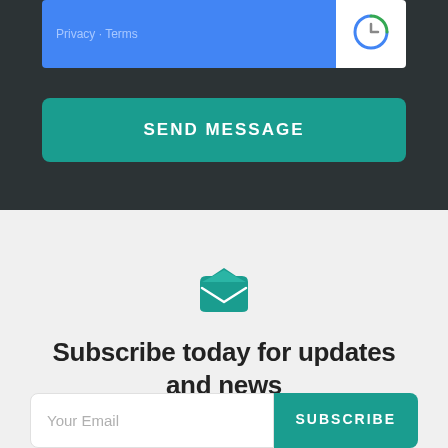Privacy - Terms
[Figure (logo): reCAPTCHA logo icon in white on white background]
SEND MESSAGE
[Figure (illustration): Teal open envelope icon]
Subscribe today for updates and news
Your Email
SUBSCRIBE